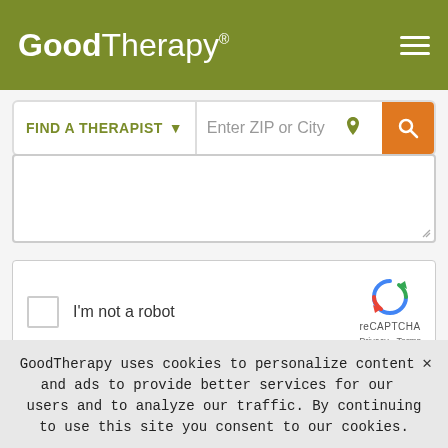[Figure (logo): GoodTherapy logo with registered trademark symbol on olive green header background with hamburger menu icon]
[Figure (screenshot): Search bar with FIND A THERAPIST dropdown and Enter ZIP or City input field with orange search button]
[Figure (screenshot): Text area input field (empty) with resize handle]
[Figure (screenshot): reCAPTCHA widget with checkbox, I'm not a robot label, and reCAPTCHA branding]
Notify me when new comments are added.
Subscribe me to the GoodTherapy.org public newsletter.
GoodTherapy uses cookies to personalize content and ads to provide better services for our users and to analyze our traffic. By continuing to use this site you consent to our cookies.